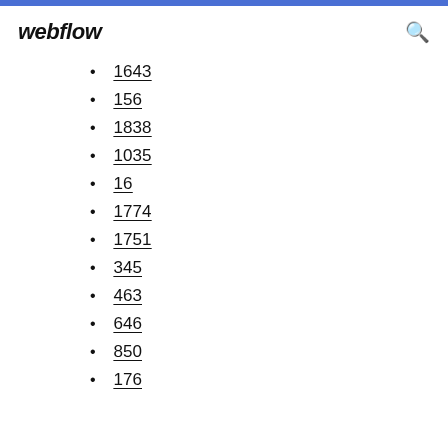webflow
1643
156
1838
1035
16
1774
1751
345
463
646
850
176